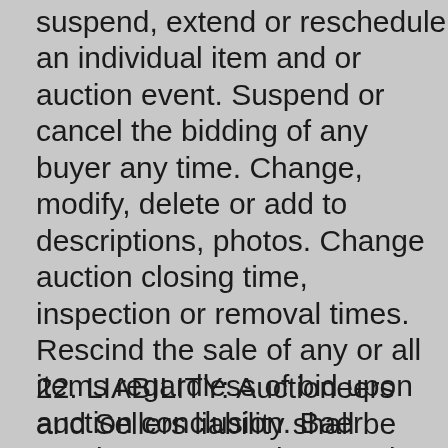suspend, extend or reschedule an individual item and or auction event. Suspend or cancel the bidding of any buyer any time. Change, modify, delete or add to descriptions, photos. Change auction closing time, inspection or removal times. Rescind the sale of any or all items regardless of bid upon auction conclusion. Baer Auctioneers - Realty, permits the registration and bidding of any party as long they meet the registration requirements and terms and condition including sellers, members, owners, employees associates of Baer Auctioneers - Realty, LLC. The auction company is not responsible for technical or communication problems, website outages, browser incompatibility or a connectivity issues. Items for sale by court ordered Bankruptcy are subject to the approval of the appointed Trustee and Bankruptcy Court.
22. LIABILITY: Auctioneers and Sellers liability shall be limited to the refund of bidders purchase price.